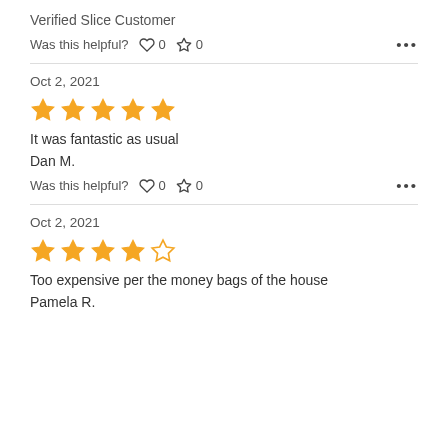Verified Slice Customer
Was this helpful? ♡ 0  ◇ 0  •••
Oct 2, 2021
[Figure (other): 5 out of 5 gold stars rating]
It was fantastic as usual
Dan M.
Was this helpful? ♡ 0  ◇ 0  •••
Oct 2, 2021
[Figure (other): 4 out of 5 stars rating, 4 gold stars and 1 empty star]
Too expensive per the money bags of the house
Pamela R.